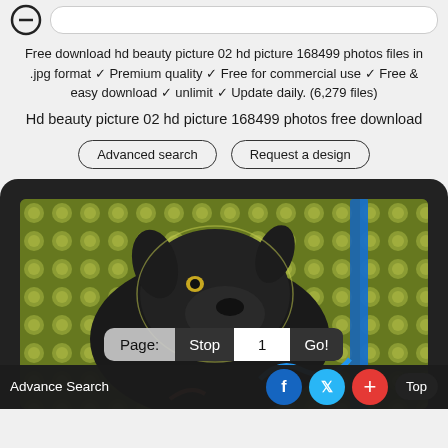Free download hd beauty picture 02 hd picture 168499 photos files in .jpg format ✓ Premium quality ✓ Free for commercial use ✓ Free & easy download ✓ unlimit ✓ Update daily. (6,279 files)
Hd beauty picture 02 hd picture 168499 photos free download
Advanced search   Request a design
[Figure (screenshot): Screenshot of a mobile phone showing a black dog with artistic yellow/green background, with pagination controls (Page: Stop 1 Go!) and a bottom bar with Advance Search, Facebook, Twitter, plus, and Top buttons]